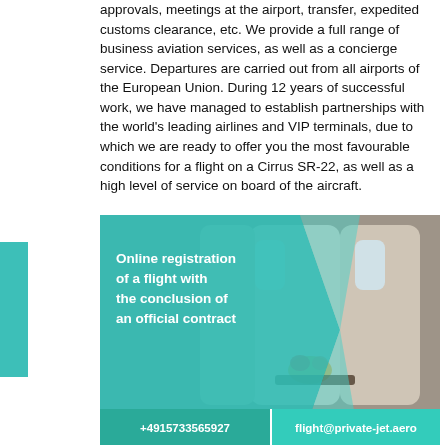approvals, meetings at the airport, transfer, expedited customs clearance, etc. We provide a full range of business aviation services, as well as a concierge service. Departures are carried out from all airports of the European Union. During 12 years of successful work, we have managed to establish partnerships with the world's leading airlines and VIP terminals, due to which we are ready to offer you the most favourable conditions for a flight on a Cirrus SR-22, as well as a high level of service on board of the aircraft.
[Figure (photo): Private jet interior banner with teal geometric overlay on the left containing bold white text 'Online registration of a flight with the conclusion of an official contract', and a photo of a luxury aircraft cabin with leather seats and a flower arrangement. Bottom bar shows phone number +4915733565927 and email flight@private-jet.aero on teal background.]